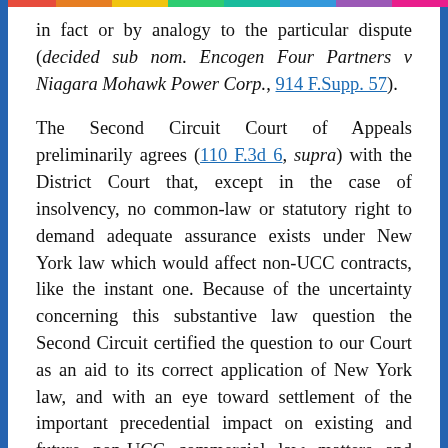in fact or by analogy to the particular dispute (decided sub nom. Encogen Four Partners v Niagara Mohawk Power Corp., 914 F.Supp. 57).
The Second Circuit Court of Appeals preliminarily agrees (110 F.3d 6, supra) with the District Court that, except in the case of insolvency, no common-law or statutory right to demand adequate assurance exists under New York law which would affect non-UCC contracts, like the instant one. Because of the uncertainty concerning this substantive law question the Second Circuit certified the question to our Court as an aid to its correct application of New York law, and with an eye toward settlement of the important precedential impact on existing and future non-UCC commercial law matters and disputes.
II.